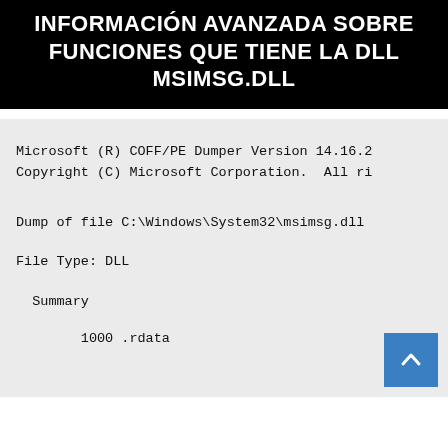INFORMACIÓN AVANZADA SOBRE FUNCIONES QUE TIENE LA DLL MSIMSG.DLL
Microsoft (R) COFF/PE Dumper Version 14.16.2
Copyright (C) Microsoft Corporation.  All ri
Dump of file C:\Windows\System32\msimsg.dll
File Type: DLL
Summary
1000 .rdata